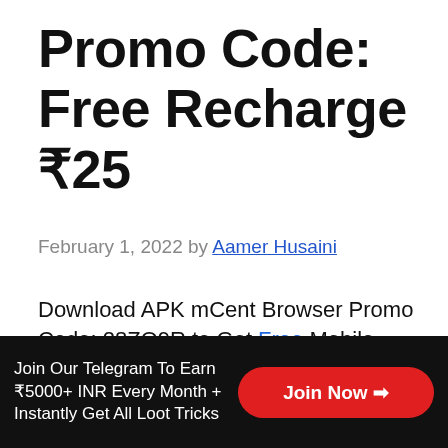Promo Code: Free Recharge ₹25
February 1, 2022 by Aamer Husaini
Download APK mCent Browser Promo Code: 28ZO9R to Get Free Mobile Recharge ₹25. Do anything online and earn points. mCent has built the world's first browser that rewards users with free recharge. We've introduced a new, better way to browse the internet! Now, you can earn free mobile data recharge just for visiting all the websites you know and
Join Our Telegram To Earn ₹5000+ INR Every Month + Instantly Get All Loot Tricks
Join Now ❯